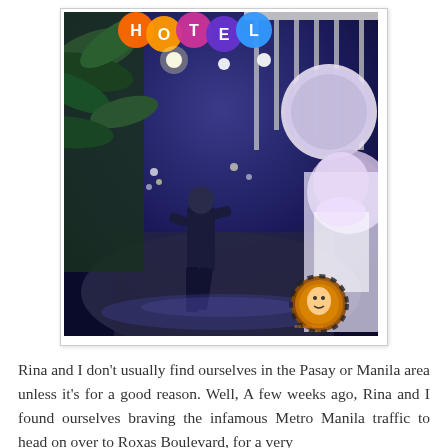[Figure (photo): A nighttime outdoor scene, possibly along Roxas Boulevard in Manila/Pasay area. Colorful illuminated signs spelling 'HOTEL' visible at top. A person in dark clothing walks along a pathway. Decorative figures and bright circular signs visible on the right side. Tropical plants and palm trees visible on the left. A circular watermark/logo visible in the bottom right corner.]
Rina and I don't usually find ourselves in the Pasay or Manila area unless it's for a good reason. Well, A few weeks ago, Rina and I found ourselves braving the infamous Metro Manila traffic to head on over to Roxas Boulevard, for a very